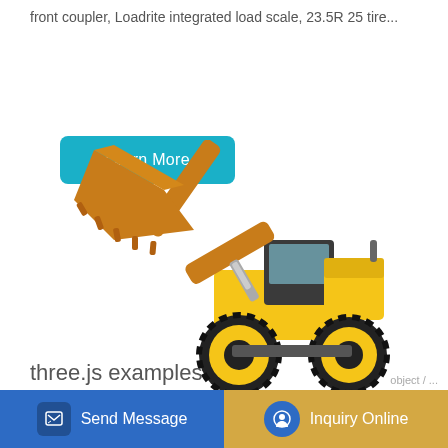front coupler, Loadrite integrated load scale, 23.5R 25 tire...
[Figure (photo): Yellow front-end wheel loader / construction vehicle with raised bucket, photographed on white background]
three.js examples
Send Message
Inquiry Online
object / ...of